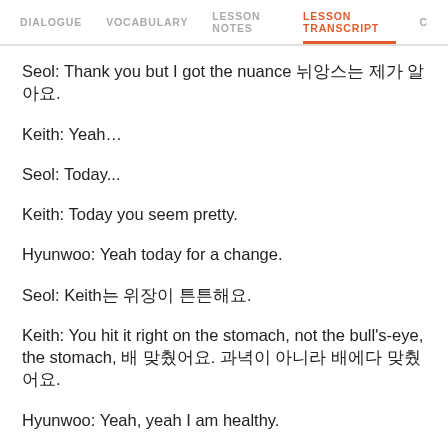DIALOGUE  VOCABULARY  LESSON NOTES  LESSON TRANSCRIPT  C
Seol: Thank you but I got the nuance 뉘앙스는 제가 알아요.
Keith: Yeah…
Seol: Today...
Keith: Today you seem pretty.
Hyunwoo: Yeah today for a change.
Seol: Keith는 위장이 튼튼해요.
Keith: You hit it right on the stomach, not the bull's-eye, the stomach, 배 맞췄어요. 과녁이 아니라 배에다 맞췄어요.
Hyunwoo: Yeah, yeah I am healthy.